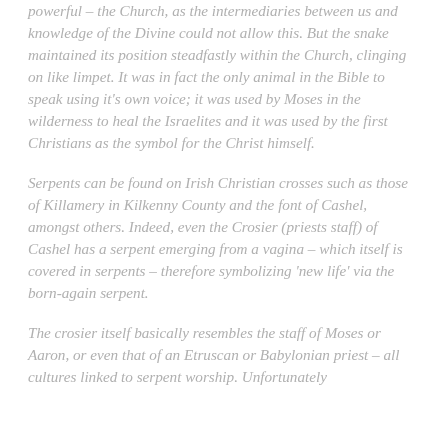powerful – the Church, as the intermediaries between us and knowledge of the Divine could not allow this. But the snake maintained its position steadfastly within the Church, clinging on like limpet. It was in fact the only animal in the Bible to speak using it's own voice; it was used by Moses in the wilderness to heal the Israelites and it was used by the first Christians as the symbol for the Christ himself.
Serpents can be found on Irish Christian crosses such as those of Killamery in Kilkenny County and the font of Cashel, amongst others. Indeed, even the Crosier (priests staff) of Cashel has a serpent emerging from a vagina – which itself is covered in serpents – therefore symbolizing 'new life' via the born-again serpent.
The crosier itself basically resembles the staff of Moses or Aaron, or even that of an Etruscan or Babylonian priest – all cultures linked to serpent worship. Unfortunately